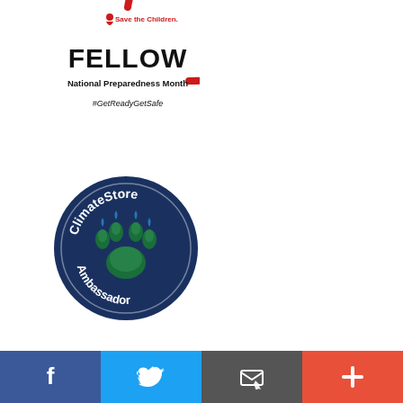[Figure (logo): Save the Children Fellow National Preparedness Month badge. Red circular arc outline with Save the Children logo at top, bold text FELLOW in center, 'National Preparedness Month' below, '#GetReadyGetSafe' at bottom inside the arc.]
[Figure (logo): ClimateStore Ambassador circular badge. Navy blue circle with text 'ClimateStore' at top and 'Ambassador' at bottom in white, green bear paw print with water droplets in center.]
[Figure (logo): Third badge partially visible at bottom, light blue circular badge with colorful design elements.]
[Figure (infographic): Social media bar at the bottom with four buttons: Facebook (blue, f icon), Twitter (light blue, bird icon), Email/envelope (gray, envelope icon), and Plus/share (red-orange, + icon).]